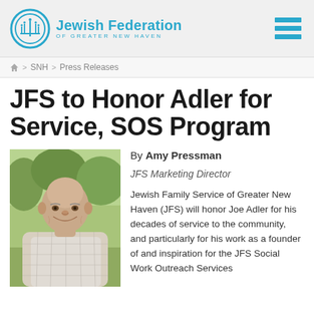Jewish Federation of Greater New Haven
Home > SNH > Press Releases
JFS to Honor Adler for Service, SOS Program
[Figure (photo): Portrait photo of an elderly man, bald, smiling, wearing a light-colored plaid shirt, outdoors with green trees in the background.]
By Amy Pressman
JFS Marketing Director
Jewish Family Service of Greater New Haven (JFS) will honor Joe Adler for his decades of service to the community, and particularly for his work as a founder of and inspiration for the JFS Social Work Outreach Services